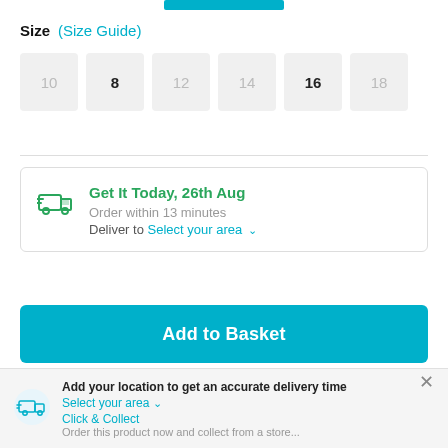[Figure (screenshot): E-commerce product page showing size selector, delivery info, add to basket button, and payment icons]
Size  (Size Guide)
10  8  12  14  16  18
Get It Today, 26th Aug
Order within 13 minutes
Deliver to Select your area
Add to Basket
Add your location to get an accurate delivery time
Select your area
Click & Collect
Order this product now and collect from a store...